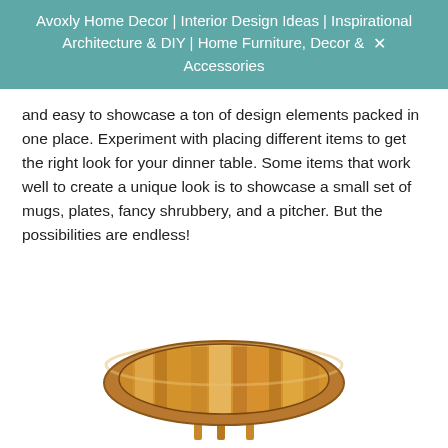Avoxly Home Decor | Interior Design Ideas | Inspirational Architecture & DIY | Home Furniture, Decor & Accessories
and easy to showcase a ton of design elements packed in one place. Experiment with placing different items to get the right look for your dinner table. Some items that work well to create a unique look is to showcase a small set of mugs, plates, fancy shrubbery, and a pitcher. But the possibilities are endless!
[Figure (photo): A round wooden tray table with a circular recessed top surface made of striped wood panels, supported by thin wooden legs, photographed from slightly above on a white background.]